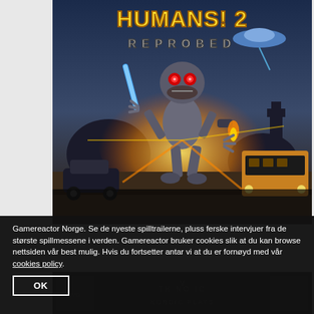[Figure (illustration): Destroy All Humans! 2 Reprobed video game cover art showing a robotic alien character with glowing red eyes holding weapons, surrounded by explosions and destruction in a city setting. Title text 'HUMANS! 2 REPROBED' visible at top.]
Gamereactor Norge. Se de nyeste spilltrailerne, pluss ferske intervjuer fra de største spillmessene i verden. Gamereactor bruker cookies slik at du kan browse nettsiden vår best mulig. Hvis du fortsetter antar vi at du er fornøyd med vår cookies policy.